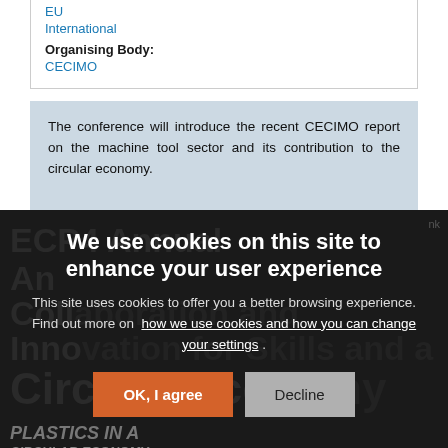EU
International
Organising Body:
CECIMO
The conference will introduce the recent CECIMO report on the machine tool sector and its contribution to the circular economy.
We use cookies on this site to enhance your user experience
This site uses cookies to offer you a better browsing experience. Find out more on how we use cookies and how you can change your settings .